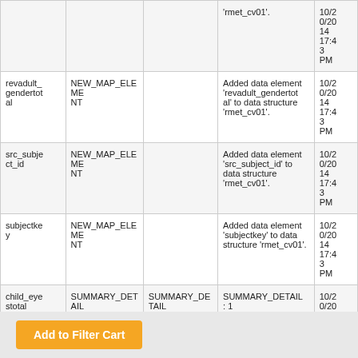|  |  |  |  |  |
| --- | --- | --- | --- | --- |
|  |  |  | 'rmet_cv01'. | 10/20/14 17:43 PM |
| revadult_gendertotal | NEW_MAP_ELEMENT |  | Added data element 'revadult_gendertotal' to data structure 'rmet_cv01'. | 10/20/14 17:43 PM |
| src_subject_id | NEW_MAP_ELEMENT |  | Added data element 'src_subject_id' to data structure 'rmet_cv01'. | 10/20/14 17:43 PM |
| subjectkey | NEW_MAP_ELEMENT |  | Added data element 'subjectkey' to data structure 'rmet_cv01'. | 10/20/14 17:43 PM |
| child_eyestotal | SUMMARY_DETAIL | SUMMARY_DETAIL: 0 | SUMMARY_DETAIL: 1 | 10/20/14 17:43 PM |
| child... | SUMMARY_DETA... | SUMMARY_DETA... | SUMMARY_DETA... | 10/2 0/20 14 |
Add to Filter Cart